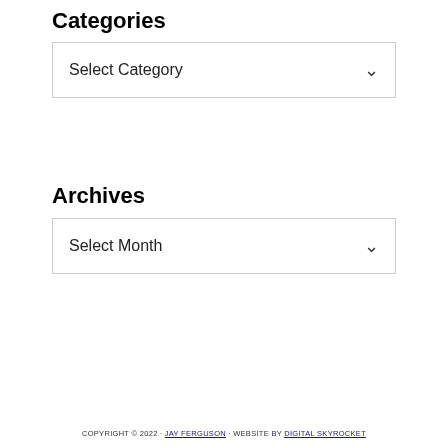Categories
Select Category
Archives
Select Month
COPYRIGHT © 2022 · JAY FERGUSON · WEBSITE BY DIGITAL SKYROCKET